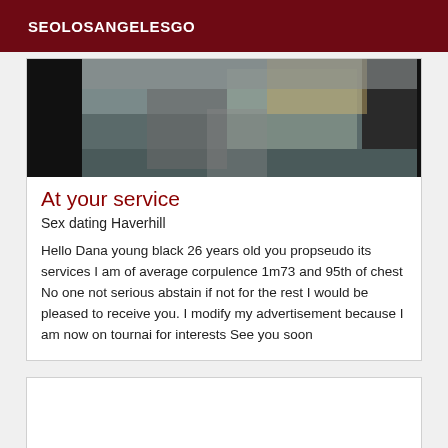SEOLOSANGELESGO
[Figure (photo): Blurry photograph showing a person, dark and light tones, partially visible upper body]
At your service
Sex dating Haverhill
Hello Dana young black 26 years old you propseudo its services I am of average corpulence 1m73 and 95th of chest No one not serious abstain if not for the rest I would be pleased to receive you. I modify my advertisement because I am now on tournai for interests See you soon